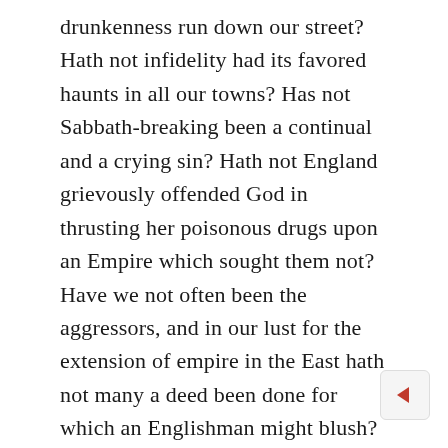drunkenness run down our street? Hath not infidelity had its favored haunts in all our towns? Has not Sabbath-breaking been a continual and a crying sin? Hath not England grievously offended God in thrusting her poisonous drugs upon an Empire which sought them not? Have we not often been the aggressors, and in our lust for the extension of empire in the East hath not many a deed been done for which an Englishman might blush? We have all good need when we are making intercession for the nation, to repent